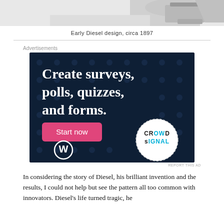[Figure (photo): Partial image of an early Diesel engine design, circa 1897, showing mechanical components against a white background]
Early Diesel design, circa 1897
[Figure (screenshot): Advertisement for Crowdsignal (a WordPress product) with dark navy background and dot pattern. Text reads: 'Create surveys, polls, quizzes, and forms.' with a pink 'Start now' button, WordPress logo bottom left, and Crowdsignal logo bottom right in a dotted circle.]
In considering the story of Diesel, his brilliant invention and the results, I could not help but see the pattern all too common with innovators. Diesel's life turned tragic, he